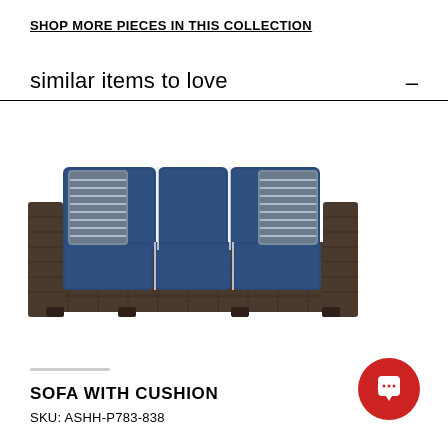SHOP MORE PIECES IN THIS COLLECTION
similar items to love
[Figure (photo): Outdoor three-seat sofa with dark brown wicker/rattan frame, navy blue cushions, and two patterned accent pillows.]
SOFA WITH CUSHION
SKU: ASHH-P783-838